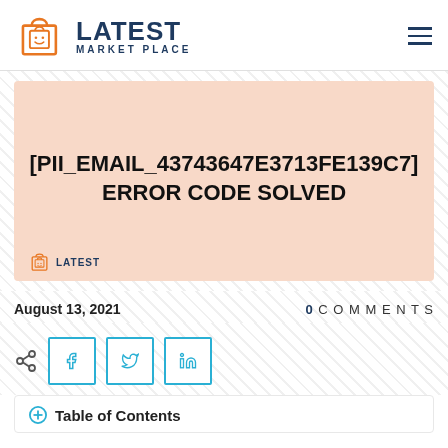LATEST MARKET PLACE
[Figure (screenshot): Featured article header image with peach/salmon background showing article title text]
[PII_EMAIL_43743647E3713FE139C7] ERROR CODE SOLVED
August 13, 2021   0 COMMENTS
[Figure (infographic): Social share buttons: share icon, Facebook, Twitter, LinkedIn]
Table of Contents